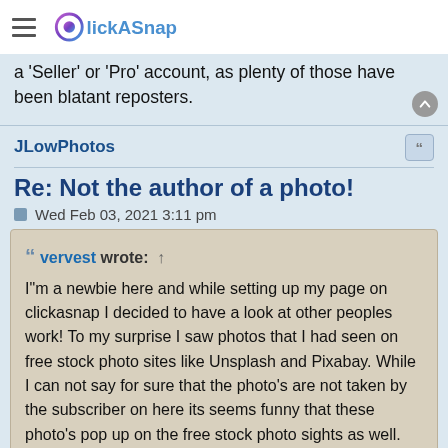ClickASnap
a 'Seller' or 'Pro' account, as plenty of those have been blatant reposters.
JLowPhotos
Re: Not the author of a photo!
Wed Feb 03, 2021 3:11 pm
vervest wrote: ↑
I"m a newbie here and while setting up my page on clickasnap I decided to have a look at other peoples work! To my surprise I saw photos that I had seen on free stock photo sites like Unsplash and Pixabay. While I can not say for sure that the photo's are not taken by the subscriber on here its seems funny that these photo's pop up on the free stock photo sights as well. Then, I was looking on the Clickasnap YouTube